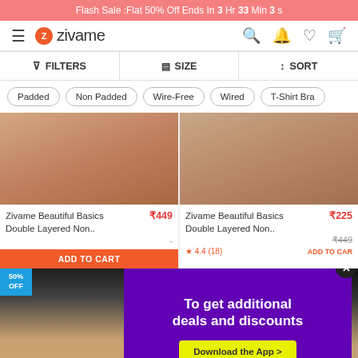Flash Sale :Flat 50% Off Ends In 3 Hr 33 Min 3 s
[Figure (logo): Zivame logo with hamburger menu and navigation icons (search, notification, heart, cart)]
FILTERS | SIZE | SORT
Padded | Non Padded | Wire-Free | Wired | T-Shirt Bra
[Figure (photo): Two product cards showing Zivame Beautiful Basics Double Layered Non.. bras. Left card: ₹449. Right card: ₹225 (original ₹449). Both have ADD TO CART buttons. Right card shows star rating 4.4 (18).]
[Figure (screenshot): Bottom section: left side shows a model photo with 50% OFF badge. Right side shows a dark background model photo. A purple popup overlay reads 'To get additional deals and discounts' with a yellow 'Download the App >' button and an X close button.]